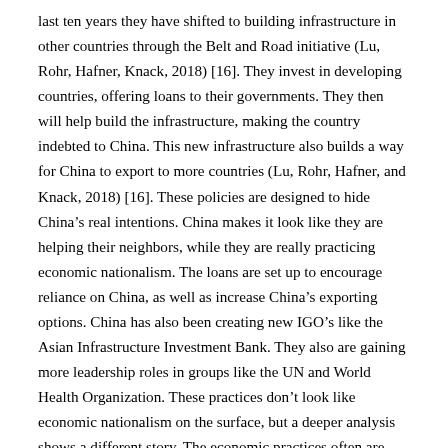last ten years they have shifted to building infrastructure in other countries through the Belt and Road initiative (Lu, Rohr, Hafner, Knack, 2018) [16]. They invest in developing countries, offering loans to their governments. They then will help build the infrastructure, making the country indebted to China. This new infrastructure also builds a way for China to export to more countries (Lu, Rohr, Hafner, and Knack, 2018) [16]. These policies are designed to hide China's real intentions. China makes it look like they are helping their neighbors, while they are really practicing economic nationalism. The loans are set up to encourage reliance on China, as well as increase China's exporting options. China has also been creating new IGO's like the Asian Infrastructure Investment Bank. They also are gaining more leadership roles in groups like the UN and World Health Organization. These practices don't look like economic nationalism on the surface, but a deeper analysis shows a different story. The economic practices often are designed to hurt other countries, placing China in a place of power over them. It creates a China-centric world in Asia, with China's economy at the center of it (Huang, 2016) [14]. An example of